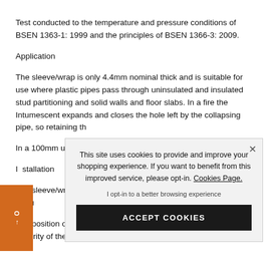Test conducted to the temperature and pressure conditions of BSEN 1363-1: 1999 and the principles of BSEN 1366-3: 2009.
Application
The sleeve/wrap is only 4.4mm nominal thick and is suitable for use where plastic pipes pass through uninsulated and insulated stud partitioning and solid walls and floor slabs. In a fire the Intumescent expands and closes the hole left by the collapsing pipe, so retaining th[e integrity of the structure]
In a 100mm uninsu[lated partition tested to 60 minutes] integrity was achiev[ed…]
Installation
The sleeve/wrap is [fixed around the pipe] with the self-adhes[ive strip,] flush with or throu[gh the wall.]
The position of the [sleeve/wrap where a] pipe passes throug[h the wall/floor to] maintain the integrity of the structure.
This site uses cookies to provide and improve your shopping experience. If you want to benefit from this improved service, please opt-in. Cookies Page.
I opt-in to a better browsing experience
ACCEPT COOKIES